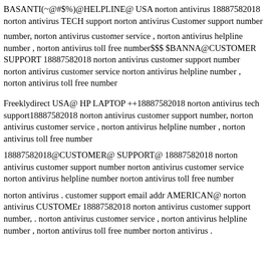BASANTI(~@#$%)@HELPLINE@ USA norton antivirus 18887582018 norton antivirus TECH support norton antivirus Customer support number
number, norton antivirus customer service , norton antivirus helpline number , norton antivirus toll free number$$$ $BANNA@CUSTOMER SUPPORT 18887582018 norton antivirus customer support number norton antivirus customer service norton antivirus helpline number , norton antivirus toll free number
Freeklydirect USA@ HP LAPTOP ++18887582018 norton antivirus tech support18887582018 norton antivirus customer support number, norton antivirus customer service , norton antivirus helpline number , norton antivirus toll free number
18887582018@CUSTOMER@ SUPPORT@ 18887582018 norton antivirus customer support number norton antivirus customer service norton antivirus helpline number norton antivirus toll free number
norton antivirus . customer support email addr AMERICAN@ norton antivirus CUSTOMEr 18887582018 norton antivirus customer support number, . norton antivirus customer service , norton antivirus helpline number , norton antivirus toll free number norton antivirus .